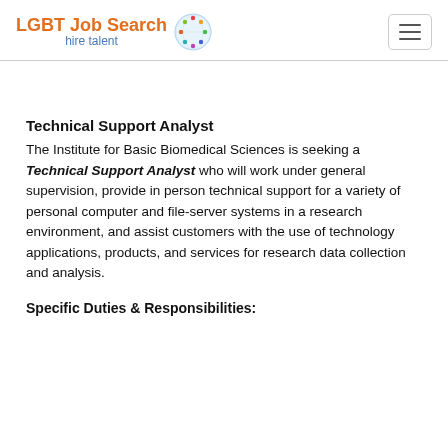LGBT Job Search hire talent
Technical Support Analyst
The Institute for Basic Biomedical Sciences is seeking a Technical Support Analyst who will work under general supervision, provide in person technical support for a variety of personal computer and file-server systems in a research environment, and assist customers with the use of technology applications, products, and services for research data collection and analysis.
Specific Duties & Responsibilities: